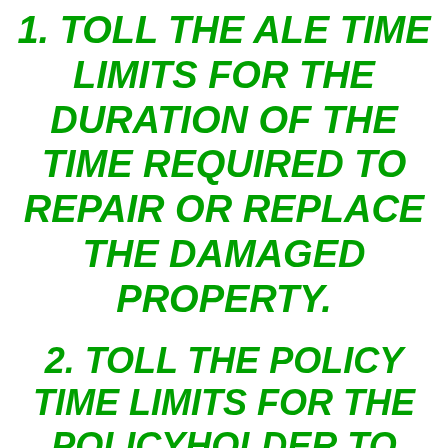1. TOLL THE ALE TIME LIMITS FOR THE DURATION OF THE TIME REQUIRED TO REPAIR OR REPLACE THE DAMAGED PROPERTY.
2. TOLL THE POLICY TIME LIMITS FOR THE POLICYHOLDER TO COMPLETE THE REPAIR OR REPLACEMENT OF THE DAMAGED PART OF THE